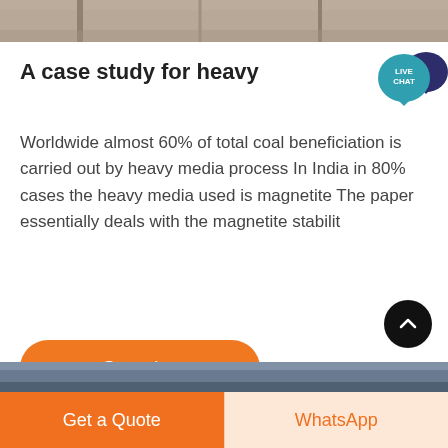[Figure (photo): Top portion of a photo showing industrial/mining equipment or structure, cropped at top of page]
A case study for heavy
[Figure (other): Live Chat speech bubble icon in teal and dark blue, with text LIVE CHAT]
Worldwide almost 60% of total coal beneficiation is carried out by heavy media process In India in 80% cases the heavy media used is magnetite The paper essentially deals with the magnetite stabilit
[Figure (other): Orange rounded rectangle button with text Get price]
[Figure (other): Black circular scroll-up button with upward chevron arrow]
[Figure (photo): Bottom strip showing a partially visible photo with sky/industrial scene]
[Figure (other): Bottom navigation bar with two buttons: orange Get a Quote button and light peach WhatsApp button]